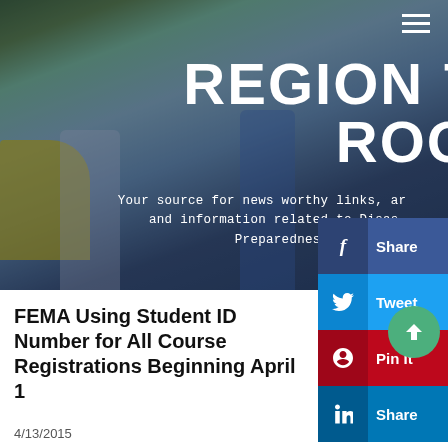[Figure (photo): Hero banner photo showing emergency medical/disaster preparedness workers unloading equipment from a trailer, overlaid with 'REGION 7 NEWS ROOM' heading and subtitle text]
REGION 7 NEWS ROOM
Your source for news worthy links, articles and information related to Disaster Preparedness.
FEMA Using Student ID Number for All Course Registrations Beginning April 1
4/13/2015